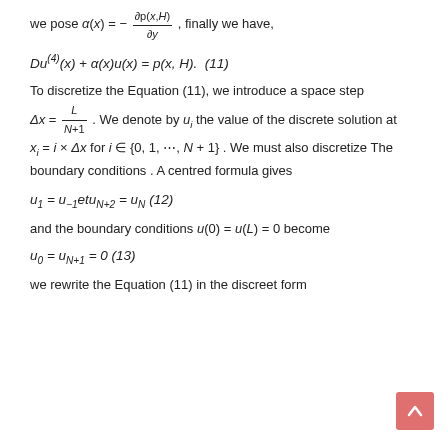we pose α(x) = − ∂p(x,H)/∂y , finally we have,
To discretize the Equation (11), we introduce a space step Δx = L/(N+1) . We denote by u_i the value of the discrete solution at x_i = i × Δx for i ∈ {0, 1, ⋯, N + 1} . We must also discretize The boundary conditions . A centred formula gives
and the boundary conditions u(0) = u(L) = 0 become
we rewrite the Equation (11) in the discreet form